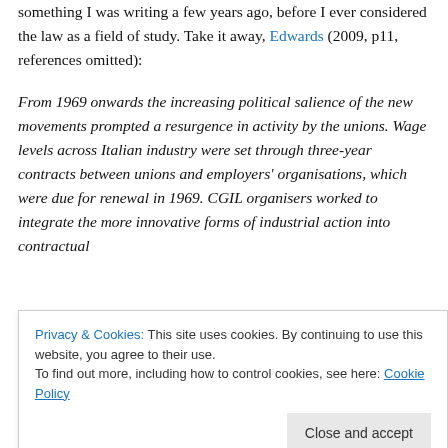something I was writing a few years ago, before I ever considered the law as a field of study. Take it away, Edwards (2009, p11, references omitted):
From 1969 onwards the increasing political salience of the new movements prompted a resurgence in activity by the unions. Wage levels across Italian industry were set through three-year contracts between unions and employers' organisations, which were due for renewal in 1969. CGIL organisers worked to integrate the more innovative forms of industrial action into contractual
Privacy & Cookies: This site uses cookies. By continuing to use this website, you agree to their use. To find out more, including how to control cookies, see here: Cookie Policy
was, and used it to regain control of a struggle which had